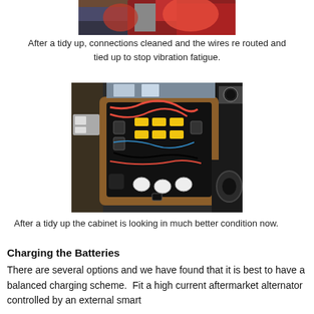[Figure (photo): Partial view of colorful wires and electrical components, cropped at top of page]
After a tidy up, connections cleaned and the wires re routed and tied up to stop vibration fatigue.
[Figure (photo): Open electrical cabinet in a boat cockpit showing complex wiring harness with red, yellow, and black wires, fuse blocks, relays, and other components, framed in wood trim with gauges and equipment visible in background]
After a tidy up the cabinet is looking in much better condition now.
Charging the Batteries
There are several options and we have found that it is best to have a balanced charging scheme.  Fit a high current aftermarket alternator controlled by an external smart